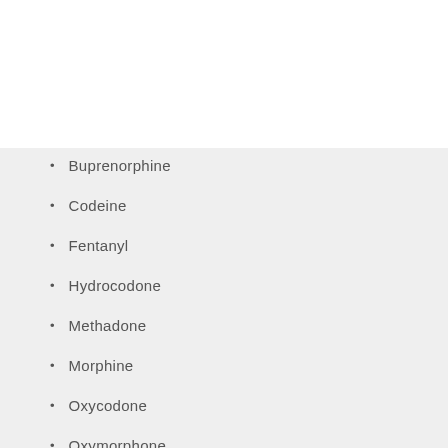Buprenorphine
Codeine
Fentanyl
Hydrocodone
Methadone
Morphine
Oxycodone
Oxymorphone
However, these highly addictive substances create dependency, starting with the first use. Some people develop a full-blown addiction and require opioid addiction treatment.
There are also opioids manufactured for street sale that